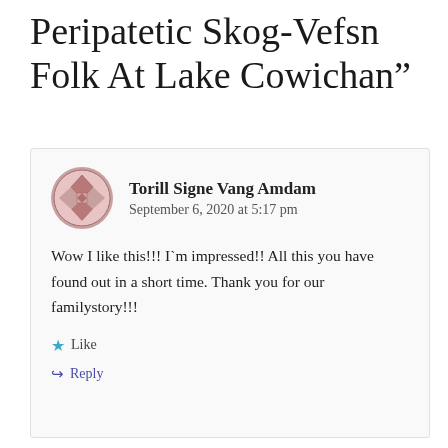Peripatetic Skog-Vefsn Folk At Lake Cowichan”
Torill Signe Vang Amdam
September 6, 2020 at 5:17 pm
Wow I like this!!! I`m impressed!! All this you have found out in a short time. Thank you for our familystory!!!
Like
Reply